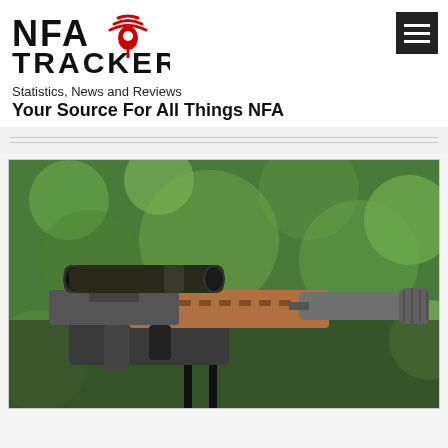[Figure (logo): NFA Tracker logo with signal/location pin icon in red and black text]
Statistics, News and Reviews
Your Source For All Things NFA
[Figure (photo): Close-up photograph of an AR-style rifle with a suppressor/silencer attached to the barrel, mounted on a bipod, with a scope on top. The rifle has a flat dark earth/tan finish. Green foliage in background.]